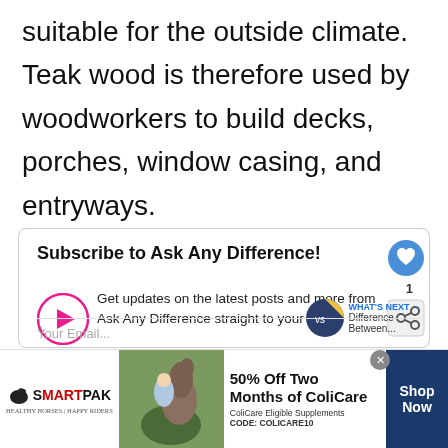suitable for the outside climate. Teak wood is therefore used by woodworkers to build decks, porches, window casing, and entryways.
[Figure (screenshot): Subscribe to Ask Any Difference newsletter box with play button icon, heart icon, share icon, 'What's Next' teaser, and email input field]
[Figure (screenshot): SmartPak advertisement banner: 50% Off Two Months of ColiCare, ColiCare Eligible Supplements, CODE: COLICARE10, Shop Now button]